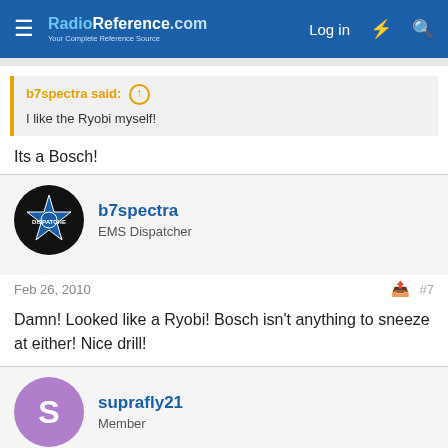RadioReference.com — Log in
b7spectra said: ↑
I like the Ryobi myself!
Its a Bosch!
b7spectra
EMS Dispatcher
Feb 26, 2010 #7
Damn! Looked like a Ryobi! Bosch isn't anything to sneeze at either! Nice drill!
suprafly21
Member
Feb 26, 2010 #8